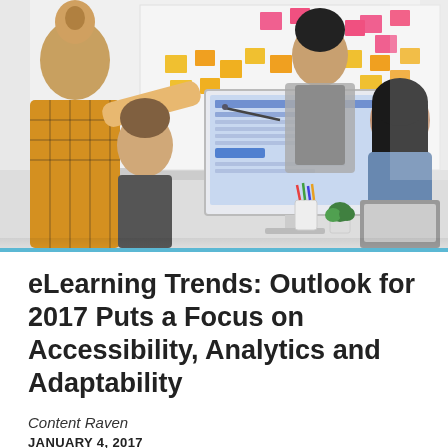[Figure (photo): Office team meeting scene: people gathered around a computer monitor showing a software interface, with colorful sticky notes (pink, yellow, orange) on a whiteboard in the background. One woman in a yellow plaid shirt leans forward, a man in black top points at the screen while another man in grey jacket stands, and a woman in denim jacket sits to the right with a laptop.]
eLearning Trends: Outlook for 2017 Puts a Focus on Accessibility, Analytics and Adaptability
Content Raven
JANUARY 4, 2017
According to IBIS Capital, the outlook for eLearning in 2017 is